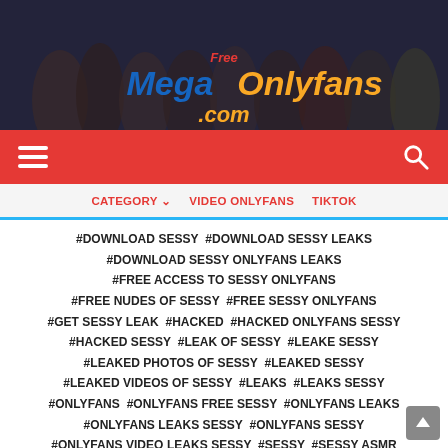[Figure (logo): FreeMegaOnlyfans.com website banner logo with figures in background]
Navigation bar with hamburger menu and search icon
CATEGORY ∨  VIDEO ONLYFANS  TIKTOK
#DOWNLOAD SESSY  #DOWNLOAD SESSY LEAKS  #DOWNLOAD SESSY ONLYFANS LEAKS  #FREE ACCESS TO SESSY ONLYFANS  #FREE NUDES OF SESSY  #FREE SESSY ONLYFANS  #GET SESSY LEAK  #HACKED  #HACKED ONLYFANS SESSY  #HACKED SESSY  #LEAK OF SESSY  #LEAKE SESSY  #LEAKED PHOTOS OF SESSY  #LEAKED SESSY  #LEAKED VIDEOS OF SESSY  #LEAKS  #LEAKS SESSY  #ONLYFANS  #ONLYFANS FREE SESSY  #ONLYFANS LEAKS  #ONLYFANS LEAKS SESSY  #ONLYFANS SESSY  #ONLYFANS VIDEO LEAKS SESSY  #SESSY  #SESSY ASMR  #SESSY BIG ASS  #SESSY BLOWJOB  #SESSY COSPLAY